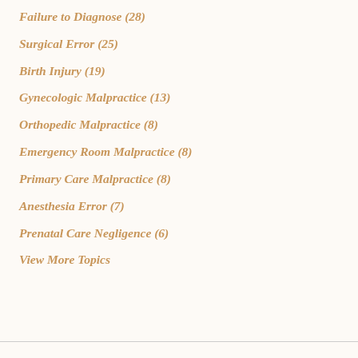Failure to Diagnose (28)
Surgical Error (25)
Birth Injury (19)
Gynecologic Malpractice (13)
Orthopedic Malpractice (8)
Emergency Room Malpractice (8)
Primary Care Malpractice (8)
Anesthesia Error (7)
Prenatal Care Negligence (6)
View More Topics